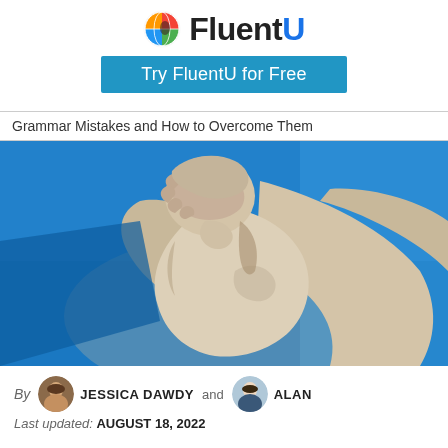FluentU — Try FluentU for Free
Grammar Mistakes and How to Overcome Them
[Figure (photo): White marble statue of a man bending forward and covering his face with both hands, against a bright blue sky background — depicting shame or frustration.]
By JESSICA DAWDY and ALAN
Last updated: AUGUST 18, 2022